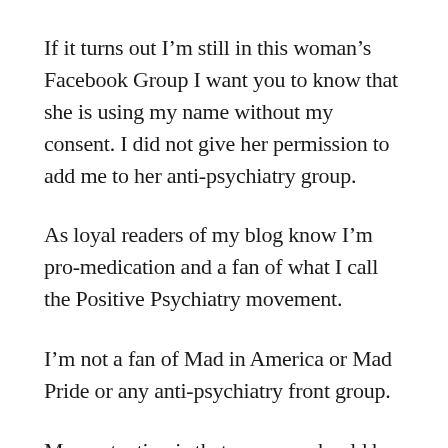If it turns out I'm still in this woman's Facebook Group I want you to know that she is using my name without my consent. I did not give her permission to add me to her anti-psychiatry group.
As loyal readers of my blog know I'm pro-medication and a fan of what I call the Positive Psychiatry movement.
I'm not a fan of Mad in America or Mad Pride or any anti-psychiatry front group.
My contention is that a person should be supported in their decision if they have to take